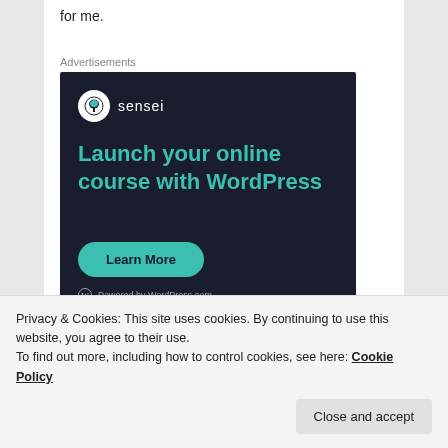for me.
Advertisements
[Figure (other): Sensei advertisement: 'Launch your online course with WordPress' with a 'Learn More' button and 'Powered by WordPress.com' footer on a dark navy background.]
Privacy & Cookies: This site uses cookies. By continuing to use this website, you agree to their use.
To find out more, including how to control cookies, see here: Cookie Policy